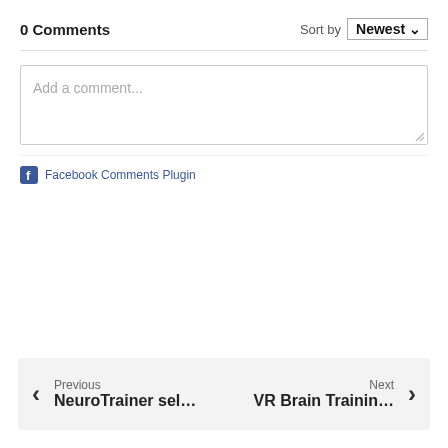0 Comments
Sort by Newest
Add a comment...
Facebook Comments Plugin
Previous NeuroTrainer sel… Next VR Brain Trainin…